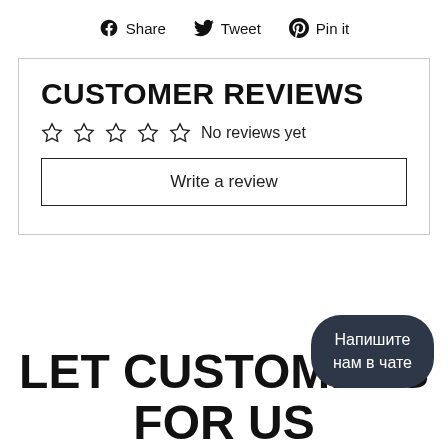Share  Tweet  Pin it
CUSTOMER REVIEWS
☆☆☆☆☆ No reviews yet
Write a review
LET CUSTOMERS FOR US
Напишите нам в чате